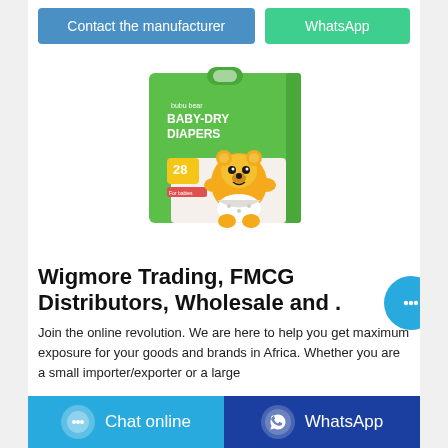Contact the manufacturer
WhatsApp
[Figure (photo): bubu bear BABY-DRY DIAPERS product package, green box with cartoon bear character, 28 diapers]
Wigmore Trading, FMCG Distributors, Wholesale and .
Join the online revolution. We are here to help you get maximum exposure for your goods and brands in Africa. Whether you are a small importer/exporter or a large
Chat online
WhatsApp